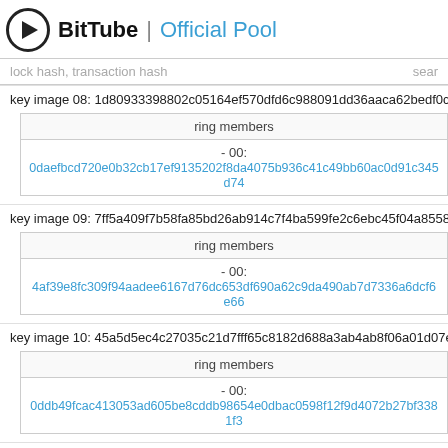BitTube | Official Pool
lock hash, transaction hash  search
key image 08: 1d80933398802c05164ef570dfd6c988091dd36aaca62bedf0c4e...
| ring members |
| --- |
| - 00: |
| 0daefbcd720e0b32cb17ef9135202f8da4075b936c41c49bb60ac0d91c345d74... |
key image 09: 7ff5a409f7b58fa85bd26ab914c7f4ba599fe2c6ebc45f04a8558bd...
| ring members |
| --- |
| - 00: |
| 4af39e8fc309f94aadee6167d76dc653df690a62c9da490ab7d7336a6dcf6e66... |
key image 10: 45a5d5ec4c27035c21d7fff65c8182d688a3ab4ab8f06a01d07e8...
| ring members |
| --- |
| - 00: |
| 0ddb49fcac413053ad605be8cddb98654e0dbac0598f12f9d4072b27bf3381f3... |
key image 11: df9649131a525dbc3299bf2235f88f41e34420f7f6756dae07d030...